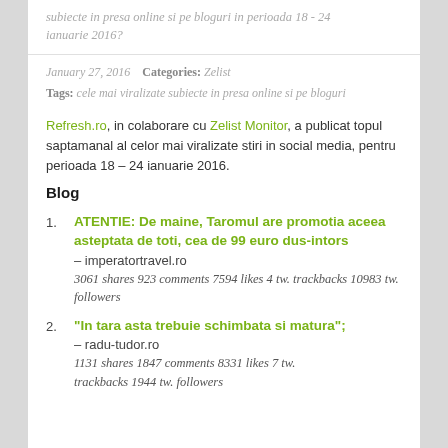subiecte in presa online si pe bloguri in perioada 18 - 24 ianuarie 2016?
January 27, 2016   Categories: Zelist
Tags: cele mai viralizate subiecte in presa online si pe bloguri
Refresh.ro, in colaborare cu Zelist Monitor, a publicat topul saptamanal al celor mai viralizate stiri in social media, pentru perioada 18 – 24 ianuarie 2016.
Blog
ATENTIE: De maine, Taromul are promotia aceea asteptata de toti, cea de 99 euro dus-intors – imperatortravel.ro
3061 shares 923 comments 7594 likes 4 tw. trackbacks 10983 tw. followers
"In tara asta trebuie schimbata si matura"; – radu-tudor.ro
1131 shares 1847 comments 8331 likes 7 tw. trackbacks 1944 tw. followers